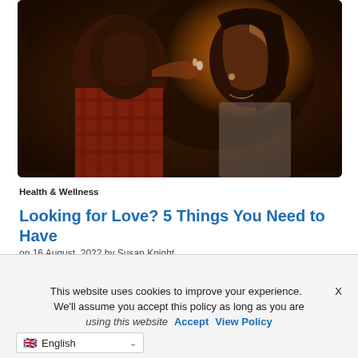[Figure (photo): Close-up romantic photo of a couple leaning toward each other against a warm golden backlight. The man on the left wears a red plaid shirt; the woman on the right has long dark hair and earrings. Warm orange/amber bokeh background.]
Health & Wellness
Looking for Love? 5 Things You Need to Have
on 16 August, 2022 by Susan Knight
Do you wish you could find that special someone in your life? Everyone has their own unique challenges when it comes to finding love and making things work.  Past
This website uses cookies to improve your experience.  X
We'll assume you accept this policy as long as you are
using this website  Accept  View Policy